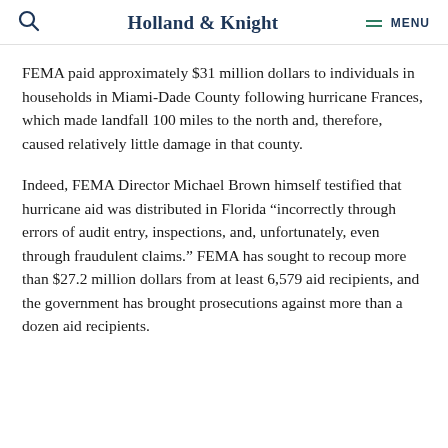Holland & Knight — MENU
FEMA paid approximately $31 million dollars to individuals in households in Miami-Dade County following hurricane Frances, which made landfall 100 miles to the north and, therefore, caused relatively little damage in that county.
Indeed, FEMA Director Michael Brown himself testified that hurricane aid was distributed in Florida "incorrectly through errors of audit entry, inspections, and, unfortunately, even through fraudulent claims." FEMA has sought to recoup more than $27.2 million dollars from at least 6,579 aid recipients, and the government has brought prosecutions against more than a dozen aid recipients.